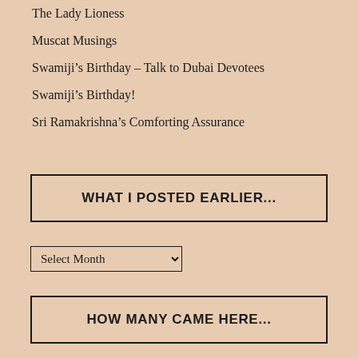The Lady Lioness
Muscat Musings
Swamiji's Birthday – Talk to Dubai Devotees
Swamiji's Birthday!
Sri Ramakrishna's Comforting Assurance
WHAT I POSTED EARLIER...
HOW MANY CAME HERE...